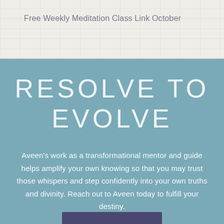Free Weekly Meditation Class Link October
RESOLVE TO EVOLVE
Aveen's work as a transformational mentor and guide helps amplify your own knowing so that you may trust those whispers and step confidently into your own truths and divinity. Reach out to Aveen today to fulfill your destiny.